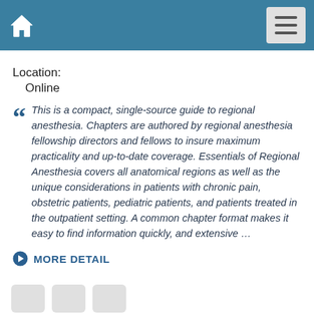Home | Menu
Location:
Online
This is a compact, single-source guide to regional anesthesia. Chapters are authored by regional anesthesia fellowship directors and fellows to insure maximum practicality and up-to-date coverage. Essentials of Regional Anesthesia covers all anatomical regions as well as the unique considerations in patients with chronic pain, obstetric patients, pediatric patients, and patients treated in the outpatient setting. A common chapter format makes it easy to find information quickly, and extensive …
MORE DETAIL